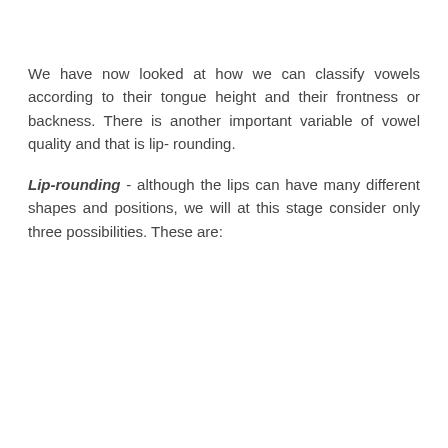We have now looked at how we can classify vowels according to their tongue height and their frontness or backness. There is another important variable of vowel quality and that is lip- rounding.
Lip-rounding - although the lips can have many different shapes and positions, we will at this stage consider only three possibilities. These are: